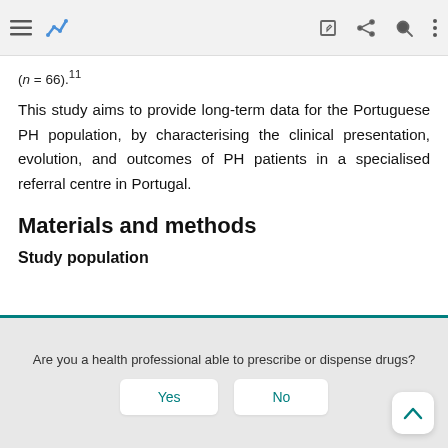[navigation bar with icons]
(n = 66).11
This study aims to provide long-term data for the Portuguese PH population, by characterising the clinical presentation, evolution, and outcomes of PH patients in a specialised referral centre in Portugal.
Materials and methods
Study population
Are you a health professional able to prescribe or dispense drugs?